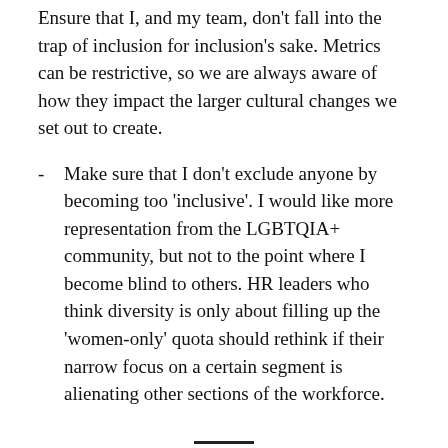Ensure that I, and my team, don't fall into the trap of inclusion for inclusion's sake. Metrics can be restrictive, so we are always aware of how they impact the larger cultural changes we set out to create.
Make sure that I don't exclude anyone by becoming too 'inclusive'. I would like more representation from the LGBTQIA+ community, but not to the point where I become blind to others. HR leaders who think diversity is only about filling up the 'women-only' quota should rethink if their narrow focus on a certain segment is alienating other sections of the workforce.
HR leaders who think diversity is only about filling up the 'women